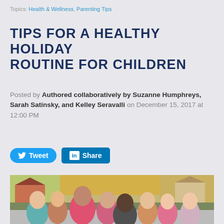Topics: Health & Wellness, Parenting Tips
TIPS FOR A HEALTHY HOLIDAY ROUTINE FOR CHILDREN
Posted by Authored collaboratively by Suzanne Humphreys, Sarah Satinsky, and Kelley Seravalli on December 15, 2017 at 12:00 PM
[Figure (other): Tweet and Share social media buttons (Twitter and LinkedIn)]
[Figure (photo): Group of smiling children huddled together outdoors in autumn setting]